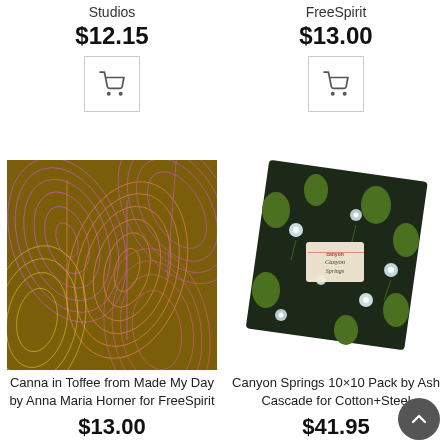Studios
$12.15
[Figure (illustration): Shopping cart icon button]
FreeSpirit
$13.00
[Figure (illustration): Shopping cart icon button]
[Figure (photo): Canna in Toffee fabric — olive/toffee background with pink and yellow leaf outlines]
Canna in Toffee from Made My Day by Anna Maria Horner for FreeSpirit
$13.00
[Figure (photo): Canyon Springs 10x10 Pack — dark floral fabric with green leaves and white blue flowers, rotated square with label]
Canyon Springs 10×10 Pack by Ash Cascade for Cotton+Steel
$41.95